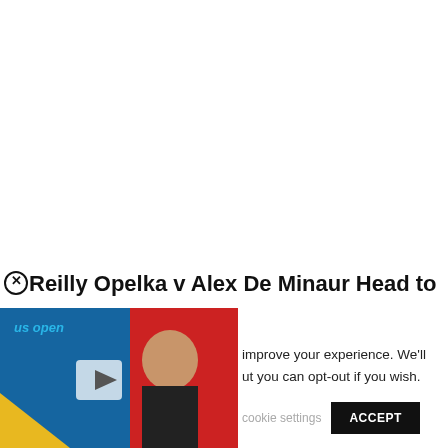⊗Reilly Opelka v Alex De Minaur Head to
[Figure (screenshot): Video thumbnail showing a smiling young woman at what appears to be a US Open press conference. Blue and red background with US Open logo text. A play button triangle is visible on the left side.]
improve your experience. We'll
ut you can opt-out if you wish.
cookie settings
ACCEPT